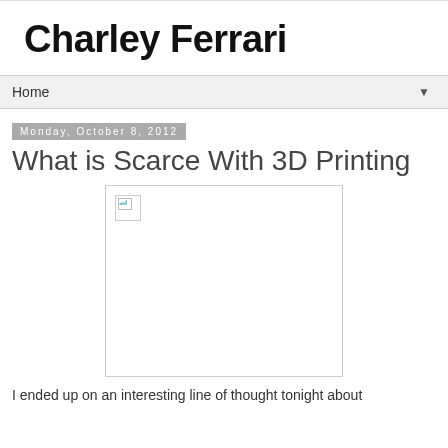Charley Ferrari
Home
Monday, October 8, 2012
What is Scarce With 3D Printing
[Figure (photo): Broken/missing image placeholder]
I ended up on an interesting line of thought tonight about